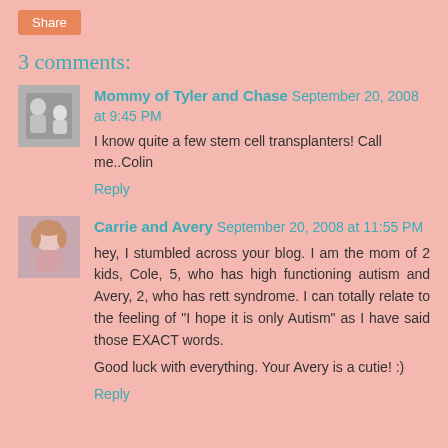3 comments:
Mommy of Tyler and Chase September 20, 2008 at 9:45 PM
I know quite a few stem cell transplanters! Call me..Colin
Reply
Carrie and Avery September 20, 2008 at 11:55 PM
hey, I stumbled across your blog. I am the mom of 2 kids, Cole, 5, who has high functioning autism and Avery, 2, who has rett syndrome. I can totally relate to the feeling of "I hope it is only Autism" as I have said those EXACT words.

Good luck with everything. Your Avery is a cutie! :)
Reply